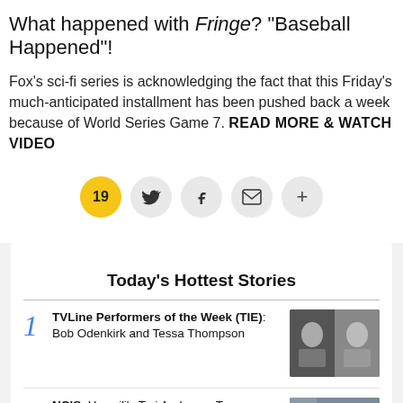What happened with Fringe? "Baseball Happened"!
Fox's sci-fi series is acknowledging the fact that this Friday's much-anticipated installment has been pushed back a week because of World Series Game 7. READ MORE & WATCH VIDEO
[Figure (infographic): Social sharing bar with comment count 19 (yellow), Twitter bird icon, Facebook f icon, envelope/email icon, and plus icon — all in circular grey buttons]
Today's Hottest Stories
1 TVLine Performers of the Week (TIE): Bob Odenkirk and Tessa Thompson
2 NCIS: Hawai'i's Tori Anderson Teases a 'Happy, Domestic' #Kacy in Season 2 — Oh, and About That...